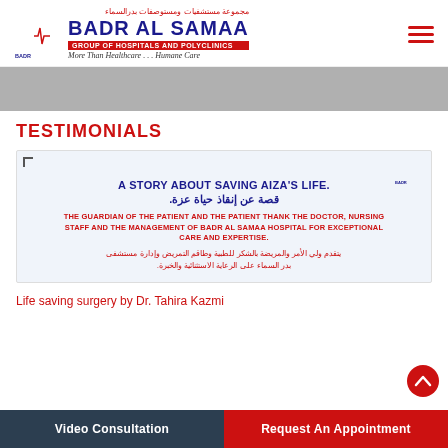[Figure (logo): Badr Al Samaa Group of Hospitals and Polyclinics logo with crescent and ECG line, Arabic text above, tagline More Than Healthcare...Humane Care]
[Figure (photo): Gray banner/slider area]
TESTIMONIALS
[Figure (photo): Testimonial card with light blue background showing: A STORY ABOUT SAVING AIZA'S LIFE. / قصة عن إنقاذ حياة عزة. / THE GUARDIAN OF THE PATIENT AND THE PATIENT THANK THE DOCTOR, NURSING STAFF AND THE MANAGEMENT OF BADR AL SAMAA HOSPITAL FOR EXCEPTIONAL CARE AND EXPERTISE. / يتقدم ولي الأمر والمريضة بالشكر للطبية وطاقم التمريض وإدارة مستشفى بدر السماء على الرعاية الاستثنائية والخبرة.]
Life saving surgery by Dr. Tahira Kazmi
Video Consultation | Request An Appointment